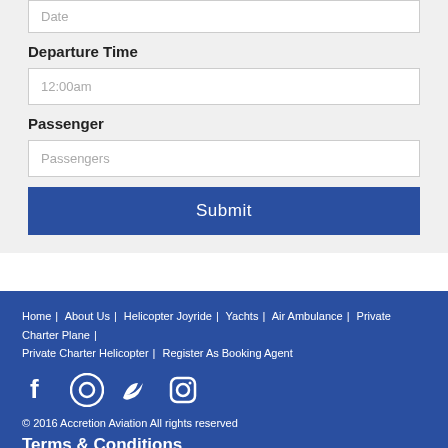Date
Departure Time
12:00am
Passenger
Passengers
Submit
Home | About Us | Helicopter Joyride | Yachts | Air Ambulance | Private Charter Plane | Private Charter Helicopter | Register As Booking Agent
© 2016 Accretion Aviation All rights reserved
Terms & Conditions
+91-9575340786  ops@accretionaviation.com